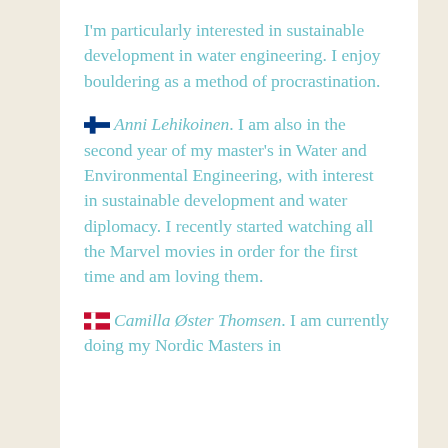I'm particularly interested in sustainable development in water engineering. I enjoy bouldering as a method of procrastination.
🇫🇮 Anni Lehikoinen. I am also in the second year of my master's in Water and Environmental Engineering, with interest in sustainable development and water diplomacy. I recently started watching all the Marvel movies in order for the first time and am loving them.
🇩🇰 Camilla Øster Thomsen. I am currently doing my Nordic Masters in